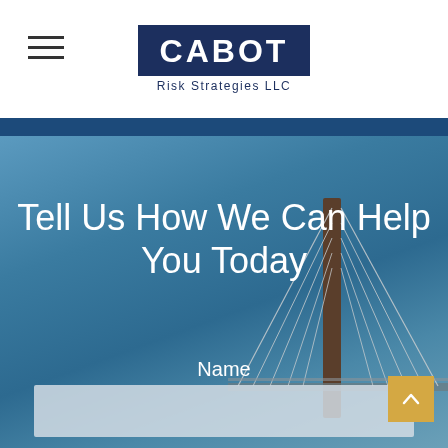[Figure (logo): Cabot Risk Strategies LLC logo with dark navy background rectangle, white bold CABOT text, and 'Risk Strategies LLC' tagline below]
[Figure (photo): Background photo of Boston's Leonard P. Zakim Bunker Hill Memorial Bridge with cable-stayed design against a blue sky, used as hero section background]
Tell Us How We Can Help You Today
Name
Email